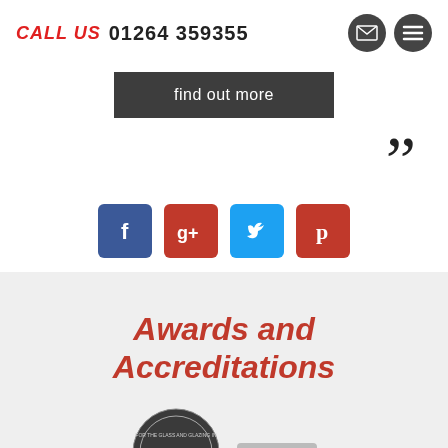CALL US  01264 359355
find out more
””
[Figure (infographic): Social media icons row: Facebook (blue), Google+ (red), Twitter (cyan), Pinterest (red)]
Awards and Accreditations
[Figure (logo): Glass and Glazing Federation award badge circle logo, partially visible at bottom]